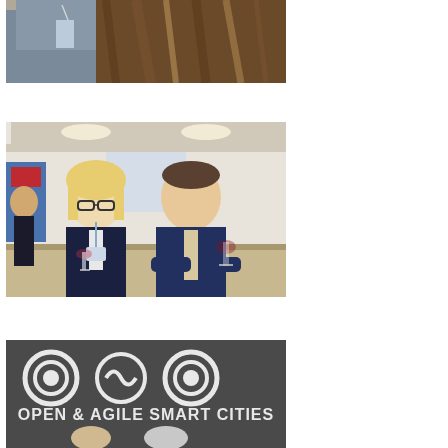[Figure (photo): Close-up photo of two people at a conference, one with long brown hair, the other wearing a lanyard/badge, appearing to greet or hug.]
[Figure (photo): Photo of two people standing at a conference booth: a woman with blonde hair wearing glasses and a dark jacket with a lanyard, and a man in a dark suit holding a wine glass, both smiling at the camera.]
[Figure (photo): Photo showing an 'Open & Agile Smart Cities' banner/logo with two people partially visible at the bottom of the frame.]